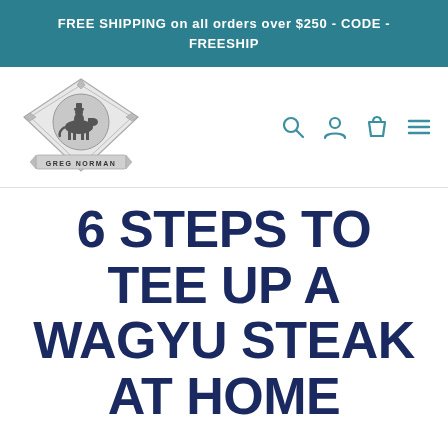FREE SHIPPING on all orders over $250 - CODE - FREESHIP
[Figure (logo): Greg Norman brand logo — diamond-shaped crest with a cowboy on horseback silhouette, decorative border, and 'GREG NORMAN' text on a banner ribbon]
6 STEPS TO TEE UP A WAGYU STEAK AT HOME